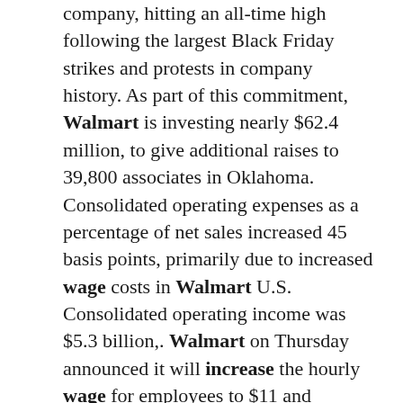company, hitting an all-time high following the largest Black Friday strikes and protests in company history. As part of this commitment, Walmart is investing nearly $62.4 million, to give additional raises to 39,800 associates in Oklahoma. Consolidated operating expenses as a percentage of net sales increased 45 basis points, primarily due to increased wage costs in Walmart U.S. Consolidated operating income was $5.3 billion,. Walmart on Thursday announced it will increase the hourly wage for employees to $11 and provide other benefits as a result of the sweeping U.S. tax overhaul. File Photo by Ken Wolter/Shutterstock/UPI. Walmart said the strong dollar was hurting sales this year and that wage increases for its employees would eat into profits next year. Shares of Walmart ( WMT ) plunged nearly 10% to a 3-year low. Walmart's